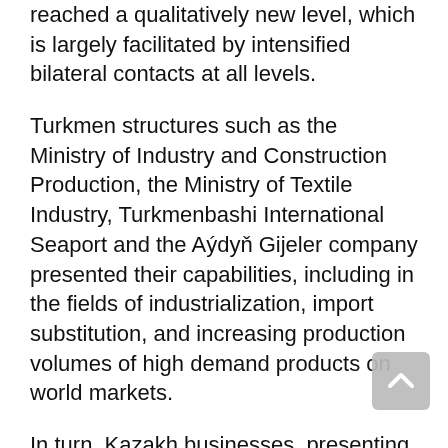reached a qualitatively new level, which is largely facilitated by intensified bilateral contacts at all levels.
Turkmen structures such as the Ministry of Industry and Construction Production, the Ministry of Textile Industry, Turkmenbashi International Seaport and the Aýdyň Gijeler company presented their capabilities, including in the fields of industrialization, import substitution, and increasing production volumes of high demand products on world markets.
In turn, Kazakh businesses, presenting their companies, emphasized their readiness to actively participate in joint national and regional projects.
During the exchange of views on the prospects for bilateral trade and economic relations, proposals were made to diversify cooperation in such priority areas as the fuel and energy sector, transport and communications, production of building materials,